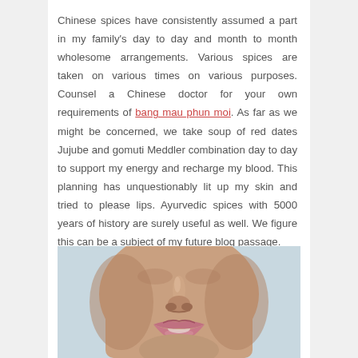Chinese spices have consistently assumed a part in my family's day to day and month to month wholesome arrangements. Various spices are taken on various times on various purposes. Counsel a Chinese doctor for your own requirements of bang mau phun moi. As far as we might be concerned, we take soup of red dates Jujube and gomuti Meddler combination day to day to support my energy and recharge my blood. This planning has unquestionably lit up my skin and tried to please lips. Ayurvedic spices with 5000 years of history are surely useful as well. We figure this can be a subject of my future blog passage.
[Figure (photo): Close-up photo of a woman's face (lower half), showing nose and lips with a light blue/grey background. The skin appears smooth and the lips are slightly parted.]